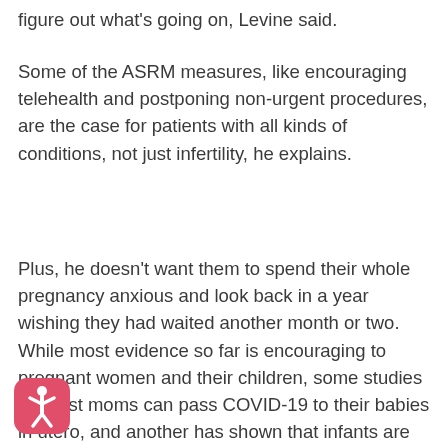Some of the ASRM measures, like encouraging telehealth and postponing non-urgent procedures, are the case for patients with all kinds of conditions, not just infertility, he explains.
Plus, he doesn't want them to spend their whole pregnancy anxious and look back in a year wishing they had waited another month or two. While most evidence so far is encouraging to pregnant women and their children, some studies suggest moms can pass COVID-19 to their babies in utero, and another has shown that infants are more at risk of severe infection than older kids.
[Figure (other): Accessibility icon button — pink/red rounded square with a white human figure (accessibility symbol) in the center, located in the bottom-left corner of the page.]